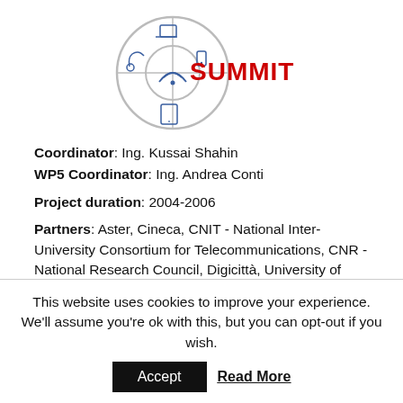[Figure (logo): SUMMIT project logo: circular diagram with icons for various devices and the red bold text 'SUMMIT' in the center]
Coordinator: Ing. Kussai Shahin
WP5 Coordinator: Ing. Andrea Conti
Project duration: 2004-2006
Partners: Aster, Cineca, CNIT - National Inter-University Consortium for Telecommunications, CNR - National Research Council, Digicittà, University of Bologna, Rizzoli Orthopedic Institute
Project
This website uses cookies to improve your experience. We'll assume you're ok with this, but you can opt-out if you wish.
Accept   Read More